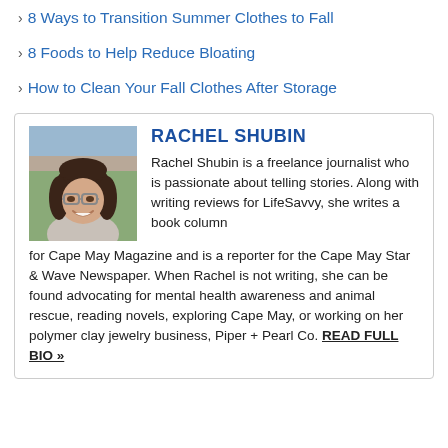8 Ways to Transition Summer Clothes to Fall
8 Foods to Help Reduce Bloating
How to Clean Your Fall Clothes After Storage
RACHEL SHUBIN
Rachel Shubin is a freelance journalist who is passionate about telling stories. Along with writing reviews for LifeSavvy, she writes a book column for Cape May Magazine and is a reporter for the Cape May Star & Wave Newspaper. When Rachel is not writing, she can be found advocating for mental health awareness and animal rescue, reading novels, exploring Cape May, or working on her polymer clay jewelry business, Piper + Pearl Co. READ FULL BIO »